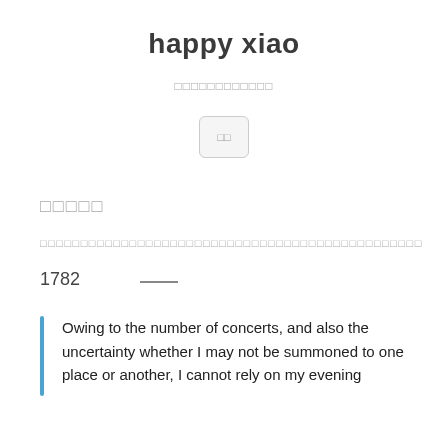happy xiao
□□□□□□□□□□□□
[Figure (other): A small rounded rectangle button with two small squares inside, gray border and light gray background]
□□□□□
□□□□□□□□□□□□□□□□□□□□□□□□□□□□□□□□□□□□□□□□□□□□□□□
1782  ___
Owing to the number of concerts, and also the uncertainty whether I may not be summoned to one place or another, I cannot rely on my evening